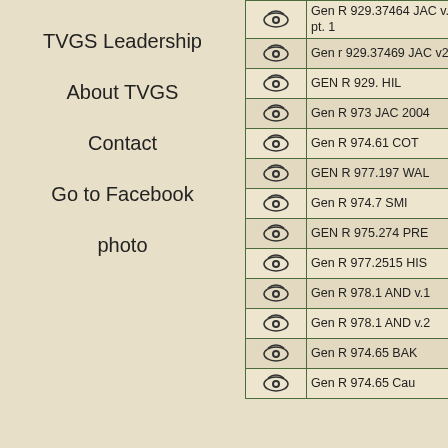TVGS Leadership
About TVGS
Contact
Go to Facebook
photo
|  |  |
| --- | --- |
| [eye] | Gen R 929.37464 JAC v.2 pt. 1 |
| [eye] | Gen r 929.37469 JAC v2 |
| [eye] | GEN R 929. HIL |
| [eye] | Gen R 973 JAC 2004 |
| [eye] | Gen R 974.61 COT |
| [eye] | GEN R 977.197 WAL |
| [eye] | Gen R 974.7 SMI |
| [eye] | GEN R 975.274 PRE |
| [eye] | Gen R 977.2515 HIS |
| [eye] | Gen R 978.1 AND v.1 |
| [eye] | Gen R 978.1 AND v.2 |
| [eye] | Gen R 974.65 BAK |
| [eye] | Gen R 974.65 Cau |